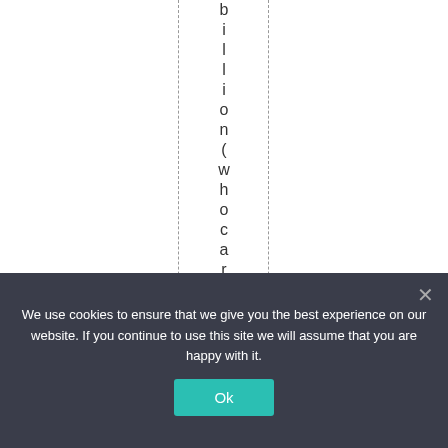billion(whocares)?
We use cookies to ensure that we give you the best experience on our website. If you continue to use this site we will assume that you are happy with it.